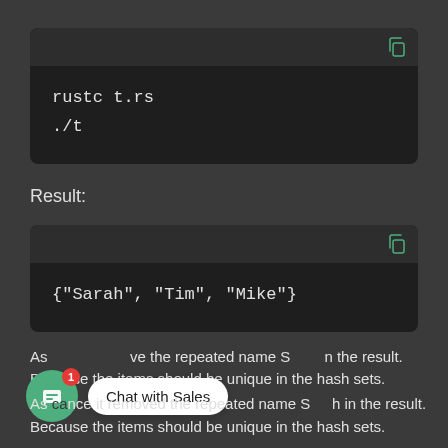[Figure (screenshot): Dark-themed code block showing shell commands: 'rustc t.rs' and './t' with a copy icon in the top-right corner]
Result:
[Figure (screenshot): Dark-themed code block showing output: '{"Sarah", "Tim", "Mike"}' with a copy icon in the top-right corner]
As you can see, it removed the repeated name Sarah from the result. Because the items should be unique in the hash sets.